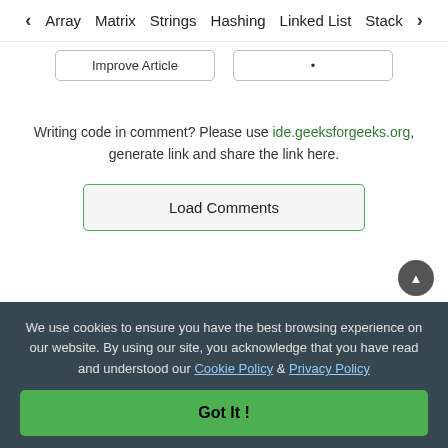< Array  Matrix  Strings  Hashing  Linked List  Stack >
Improve Article  •
Writing code in comment? Please use ide.geeksforgeeks.org, generate link and share the link here.
Load Comments
We use cookies to ensure you have the best browsing experience on our website. By using our site, you acknowledge that you have read and understood our Cookie Policy & Privacy Policy
Got It !